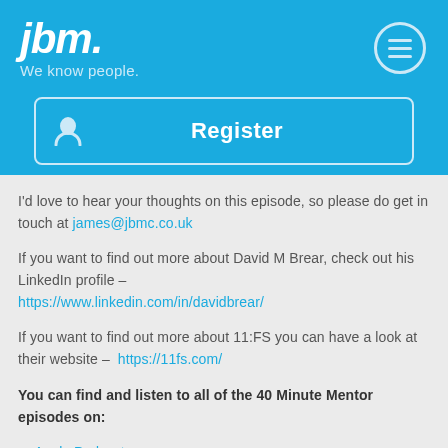[Figure (logo): jbm. We know people. logo in white/light blue on blue background]
[Figure (other): Register button with user icon, outlined in light blue on blue background]
I'd love to hear your thoughts on this episode, so please do get in touch at james@jbmc.co.uk
If you want to find out more about David M Brear, check out his LinkedIn profile – https://www.linkedin.com/in/davidbrear/
If you want to find out more about 11:FS you can have a look at their website – https://11fs.com/
You can find and listen to all of the 40 Minute Mentor episodes on:
Apple Podcast